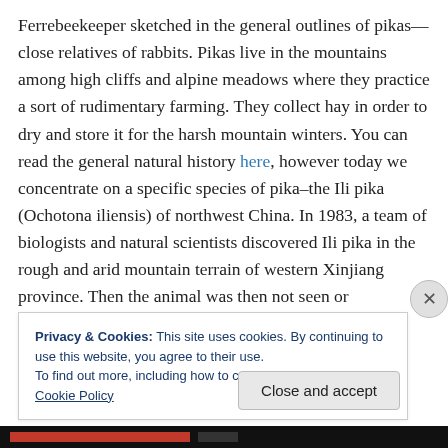Ferrebeekeeper sketched in the general outlines of pikas—close relatives of rabbits. Pikas live in the mountains among high cliffs and alpine meadows where they practice a sort of rudimentary farming. They collect hay in order to dry and store it for the harsh mountain winters. You can read the general natural history here, however today we concentrate on a specific species of pika–the Ili pika (Ochotona iliensis) of northwest China. In 1983, a team of biologists and natural scientists discovered Ili pika in the rough and arid mountain terrain of western Xinjiang province. Then the animal was then not seen or
Privacy & Cookies: This site uses cookies. By continuing to use this website, you agree to their use.
To find out more, including how to control cookies, see here: Cookie Policy
Close and accept